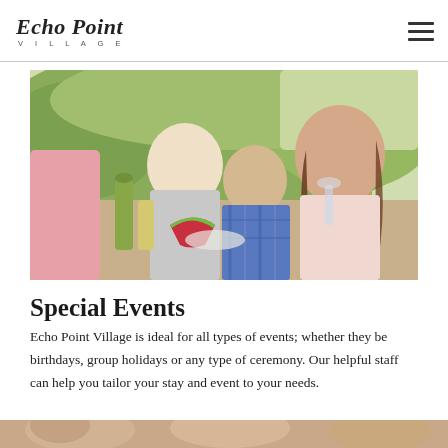Echo Point Village
[Figure (photo): Family gathering outdoors at a picnic table, with adults and a child sharing a meal with watermelon and wine, green foliage in background]
Special Events
Echo Point Village is ideal for all types of events; whether they be birthdays, group holidays or any type of ceremony. Our helpful staff can help you tailor your stay and event to your needs.
[Figure (photo): Partial image of people at the bottom of the page (cropped)]